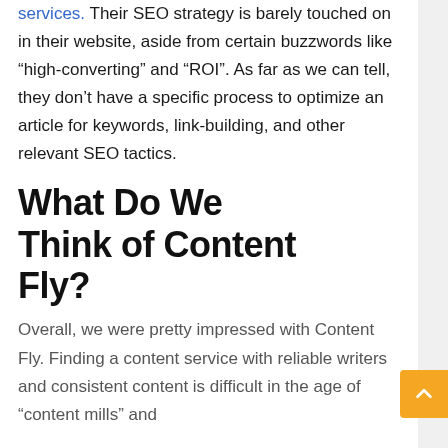services. Their SEO strategy is barely touched on in their website, aside from certain buzzwords like “high-converting” and “ROI”. As far as we can tell, they don’t have a specific process to optimize an article for keywords, link-building, and other relevant SEO tactics.
What Do We Think of Content Fly?
Overall, we were pretty impressed with Content Fly. Finding a content service with reliable writers and consistent content is difficult in the age of “content mills” and